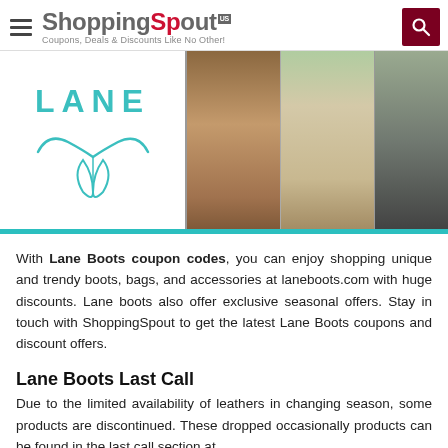ShoppingSpout US — Coupons, Deals & Discounts Like No Other!
[Figure (logo): Lane Boots banner with Lane logo on left (teal text with longhorn icon) and three photos of cowboy boots on right]
With Lane Boots coupon codes, you can enjoy shopping unique and trendy boots, bags, and accessories at laneboots.com with huge discounts. Lane boots also offer exclusive seasonal offers. Stay in touch with ShoppingSpout to get the latest Lane Boots coupons and discount offers.
Lane Boots Last Call
Due to the limited availability of leathers in changing season, some products are discontinued. These dropped occasionally products can be found in the last call section at